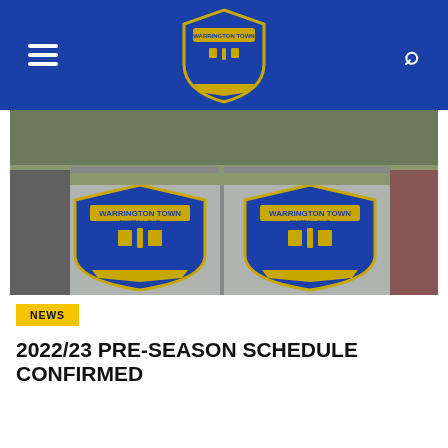Warrington Town Football Club
[Figure (photo): Warrington Town FC club crests on stone gates outside the stadium]
NEWS
2022/23 PRE-SEASON SCHEDULE CONFIRMED